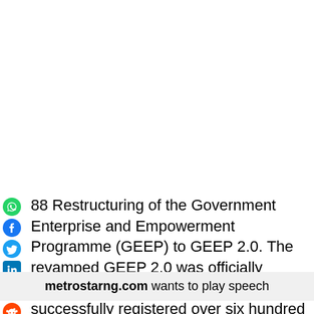[Figure (other): Vertical stack of social media share icons: WhatsApp (green), Facebook (blue), Twitter (blue bird), LinkedIn (blue), Pinterest (red), Reddit (orange), Email (red envelope), Print (blue printer)]
88 Restructuring of the Government Enterprise and Empowerment Programme (GEEP) to GEEP 2.0. The revamped GEEP 2.0 was officially launched on 24th August 2021 and has successfully registered over six hundred thousand potential beneficiaries in all the
metrostarng.com wants to play speech